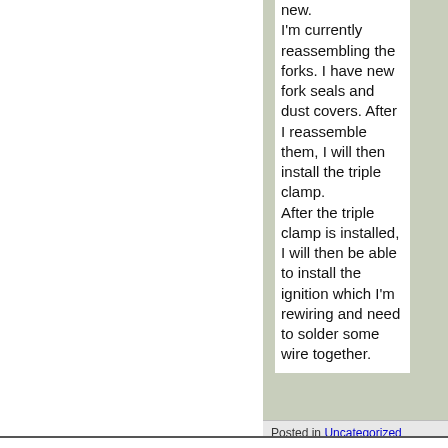new. I'm currently reassembling the forks. I have new fork seals and dust covers. After I reassemble them, I will then install the triple clamp. After the triple clamp is installed, I will then be able to install the ignition which I'm rewiring and need to solder some wire together.
Posted in Uncategorized   View Comments: